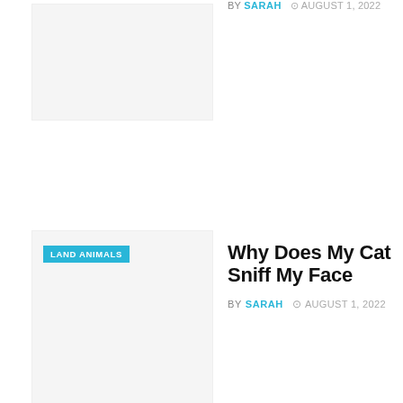[Figure (photo): Partial image placeholder for a top article, light gray background]
BY SARAH · AUGUST 1, 2022
[Figure (photo): Image placeholder for 'Why Does My Cat Sniff My Face' article with LAND ANIMALS badge]
Why Does My Cat Sniff My Face
BY SARAH · AUGUST 1, 2022